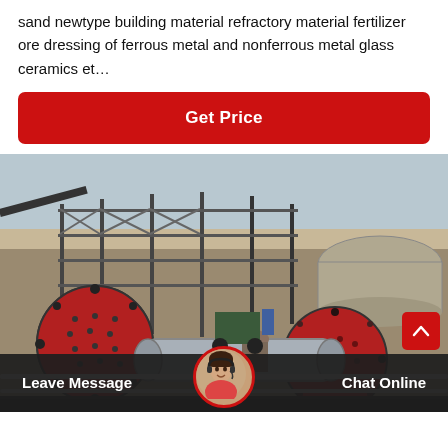sand newtype building material refractory material fertilizer ore dressing of ferrous metal and nonferrous metal glass ceramics et…
Get Price
[Figure (photo): Industrial mining/milling machinery installation with large red ball mill drums, conveyor structures, and workers on site in an arid outdoor environment.]
Leave Message
Chat Online